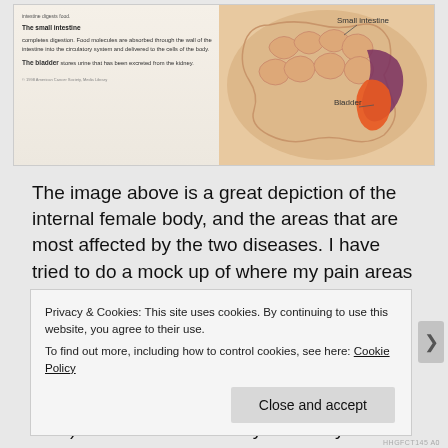[Figure (illustration): Anatomical illustration of the internal female body showing digestive and urinary organs including small intestine and bladder, with text descriptions on the left side. The image has pink/purple and orange colored overlays indicating pain areas for endometriosis and ulcerative colitis.]
The image above is a great depiction of the internal female body, and the areas that are most affected by the two diseases. I have tried to do a mock up of where my pain areas are (pink = endometriosis; orange = ulcerative colitis). As you can see the areas that I feel endo pain are very similar to the areas I feel UC pain. For instance, I have endometriosis on my ovaries (not shown here) and adhesions on my left ovary which impacts my left sciatic
Privacy & Cookies: This site uses cookies. By continuing to use this website, you agree to their use.
To find out more, including how to control cookies, see here: Cookie Policy
Close and accept